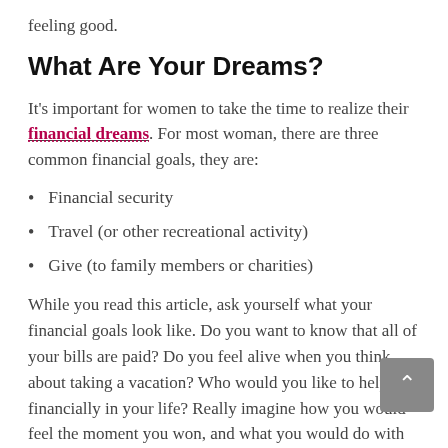feeling good.
What Are Your Dreams?
It's important for women to take the time to realize their financial dreams. For most woman, there are three common financial goals, they are:
Financial security
Travel (or other recreational activity)
Give (to family members or charities)
While you read this article, ask yourself what your financial goals look like. Do you want to know that all of your bills are paid? Do you feel alive when you think about taking a vacation? Who would you like to help financially in your life? Really imagine how you would feel the moment you won, and what you would do with your winnings.